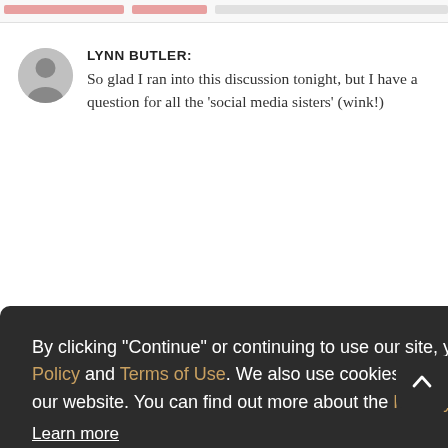LYNN BUTLER: So glad I ran into this discussion tonight, but I have a question for all the 'social media sisters' (wink!)
By clicking "Continue" or continuing to use our site, you acknowledge that you accept our Privacy Policy and Terms of Use. We also use cookies to provide you with the best possible experience on our website. You can find out more about the Privacy Policy and Cookie Policy we use here:
Learn more
CONTINUE
Does anyone else use either of these outlets to